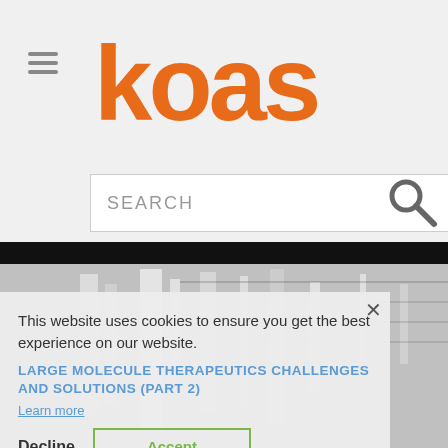[Figure (logo): KOAS logo in orange text]
[Figure (screenshot): Search bar with SEARCH placeholder text and magnifying glass icon]
[Figure (screenshot): Cookie consent overlay on website showing article title LARGE MOLECULE THERAPEUTICS CHALLENGES AND SOLUTIONS (PART 2) with Decline and Accept buttons]